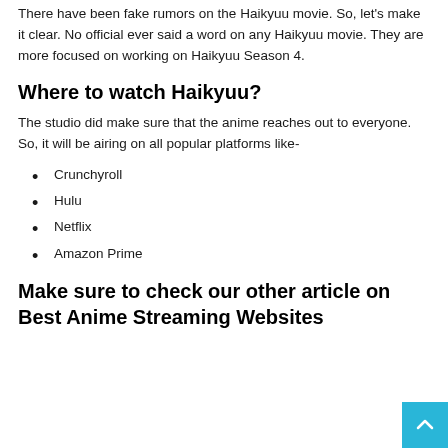There have been fake rumors on the Haikyuu movie. So, let's make it clear. No official ever said a word on any Haikyuu movie. They are more focused on working on Haikyuu Season 4.
Where to watch Haikyuu?
The studio did make sure that the anime reaches out to everyone. So, it will be airing on all popular platforms like-
Crunchyroll
Hulu
Netflix
Amazon Prime
Make sure to check our other article on Best Anime Streaming Websites